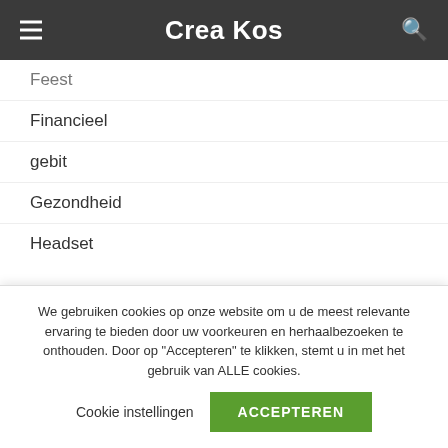Crea Kos
Feest
Financieel
gebit
Gezondheid
Headset
Horeca
juridisch
Keuken
We gebruiken cookies op onze website om u de meest relevante ervaring te bieden door uw voorkeuren en herhaalbezoeken te onthouden. Door op "Accepteren" te klikken, stemt u in met het gebruik van ALLE cookies.
Cookie instellingen   ACCEPTEREN